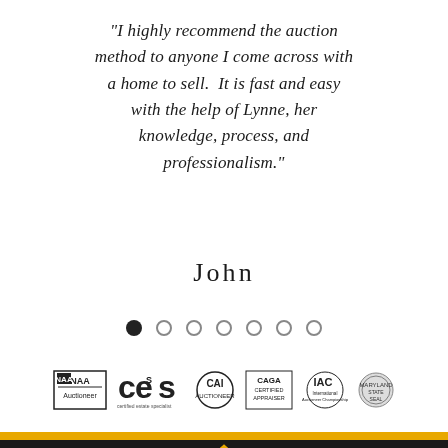“I highly recommend the auction method to anyone I come across with a home to sell.  It is fast and easy with the help of Lynne, her knowledge, process, and professionalism.”
John
[Figure (other): Pagination dots: 7 circles, first one filled black, remaining 6 are outlined empty circles]
[Figure (other): Row of certification/association logos: NAA Auctioneer, CES Certified Estate Specialist, CAI Auctioneer, CAGA Certified Appraiser, IAC International Auctioneer Championship, Maryland state seal]
CONTACT INFO   [house logo]   Auctioneer Licenses: